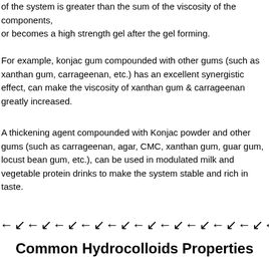of the system is greater than the sum of the viscosity of the components, or becomes a high strength gel after the gel forming.
For example, konjac gum compounded with other gums (such as xanthan gum, carrageenan, etc.) has an excellent synergistic effect, can make the viscosity of xanthan gum & carrageenan greatly increased.
A thickening agent compounded with Konjac powder and other gums (such as carrageenan, agar, CMC, xanthan gum, guar gum, locust bean gum, etc.), can be used in modulated milk and vegetable protein drinks to make the system stable and rich in taste.
[Figure (other): A decorative horizontal divider made of repeating left-pointing arrow symbols]
Common Hydrocolloids Properties